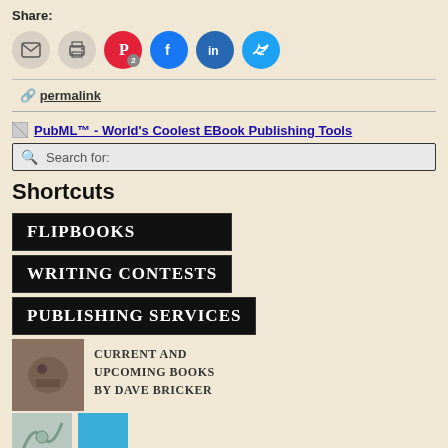Share:
[Figure (other): Social sharing icons: email, print, Pinterest (with badge 2), Facebook, LinkedIn, Twitter]
permalink
[Figure (other): PubML™ - World's Coolest EBook Publishing Tools logo/link with broken image icon]
Search for:
Shortcuts
[Figure (other): FLIPBOOKS banner button - black background with white serif text]
[Figure (other): WRITING CONTESTS banner button - black background with white serif text]
[Figure (other): PUBLISHING SERVICES banner button - black background with white serif text]
[Figure (other): Photo of Dave Bricker alongside text: CURRENT AND UPCOMING BOOKS BY DAVE BRICKER]
[Figure (other): Two book covers partially visible at bottom]